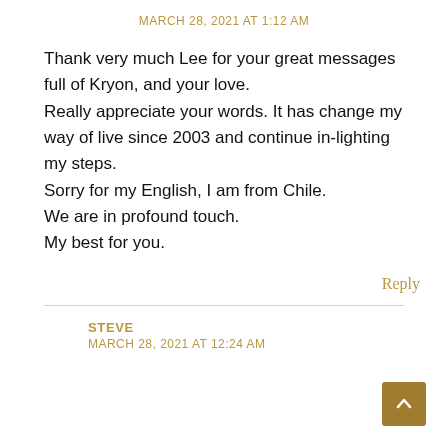MARCH 28, 2021 AT 1:12 AM
Thank very much Lee for your great messages full of Kryon, and your love.
Really appreciate your words. It has change my way of live since 2003 and continue in-lighting my steps.
Sorry for my English, I am from Chile.
We are in profound touch.
My best for you.
Reply
STEVE
MARCH 28, 2021 AT 12:24 AM